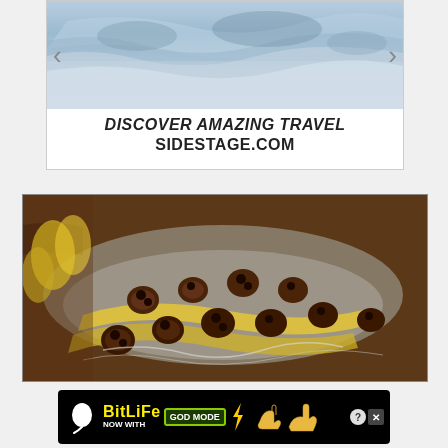[Figure (illustration): Top advertisement banner showing an icy/glacier background image with left and right navigation arrows, and text reading DISCOVER AMAZING TRAVEL SIDESTAGE.COM]
[Figure (photo): Food photo showing banana boats with toasted marshmallows and chocolate chips wrapped in aluminum foil, with bananas visible in background]
[Figure (illustration): BitLife advertisement banner with black background, yellow BitLife logo text, sperm icon, NOW WITH GOD MODE text, pointing hand icons, and question/close buttons]